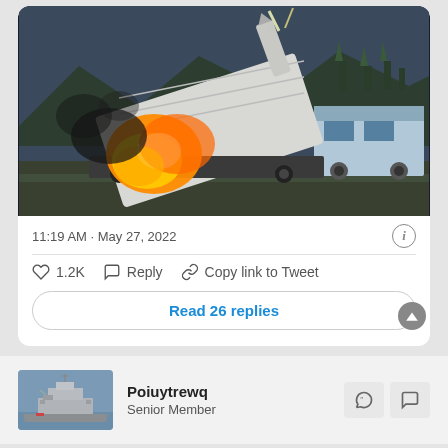[Figure (photo): A military missile launcher system firing a rocket with large flames and smoke, mounted on a truck, with trees and mountains in the background at dusk.]
11:19 AM · May 27, 2022
♡ 1.2K   Reply   Copy link to Tweet
Read 26 replies
[Figure (photo): Profile avatar showing a military ship (destroyer/cruiser) on water.]
Poiuytrewq
Senior Member